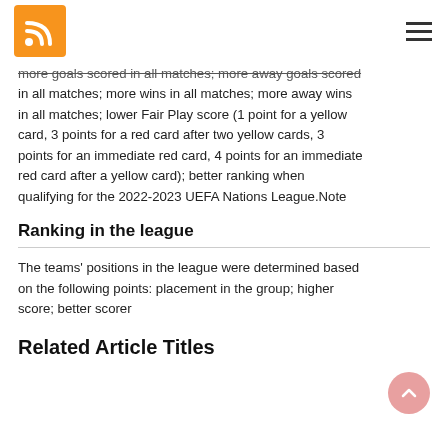RSS feed icon and hamburger menu
more goals scored in all matches; more away goals scored in all matches; more wins in all matches; more away wins in all matches; lower Fair Play score (1 point for a yellow card, 3 points for a red card after two yellow cards, 3 points for an immediate red card, 4 points for an immediate red card after a yellow card); better ranking when qualifying for the 2022-2023 UEFA Nations League.Note
Ranking in the league
The teams' positions in the league were determined based on the following points: placement in the group; higher score; better scorer
Related Article Titles